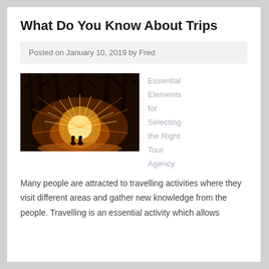What Do You Know About Trips
Posted on January 10, 2019 by Fred
[Figure (photo): Night photo of two silhouetted people standing amid spectacular fire/sparkler display under palm trees at a tropical beach]
Essential Elements for Selecting the Right Tour Agency
Many people are attracted to travelling activities where they visit different areas and gather new knowledge from the people. Travelling is an essential activity which allows